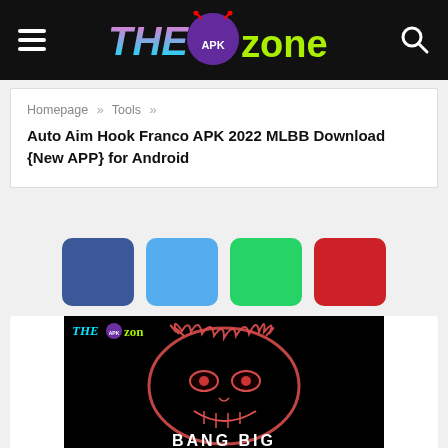THE APK ZONE — navigation header with hamburger menu and search icon
Homepage » Tools »
Auto Aim Hook Franco APK 2022 MLBB Download {New APP} for Android
[Figure (other): Four social share buttons: Facebook (dark blue), Twitter (light blue), WhatsApp (green), Pinterest (red)]
[Figure (photo): Dark promotional image for the app showing a glowing skull face outline with text 'BANG BIG' and THE APK ZONE watermark logo in top left corner]